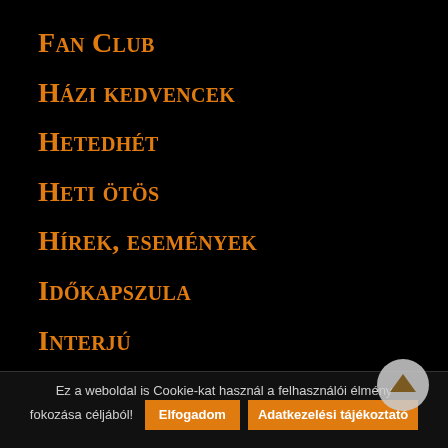Fan Club
Házi kedvencek
Hetedhét
Heti ötös
Hírek, események
Időkapszula
Interjú
Jubileum
Ez a weboldal is Cookie-kat használ a felhasználói élmény fokozása céljából! Elfogadom  Adatkezelési tájékoztató